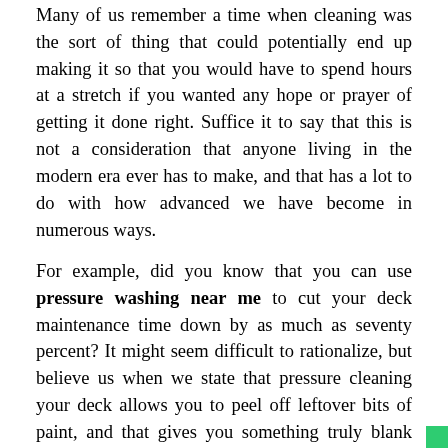Many of us remember a time when cleaning was the sort of thing that could potentially end up making it so that you would have to spend hours at a stretch if you wanted any hope or prayer of getting it done right. Suffice it to say that this is not a consideration that anyone living in the modern era ever has to make, and that has a lot to do with how advanced we have become in numerous ways.
For example, did you know that you can use pressure washing near me to cut your deck maintenance time down by as much as seventy percent? It might seem difficult to rationalize, but believe us when we state that pressure cleaning your deck allows you to peel off leftover bits of paint, and that gives you something truly blank and untouched to refinish to your heart's content. That said, there is one thing that a lot of people tend to forget when they learn how much of an improvement power washing can make to their deck, and that is that